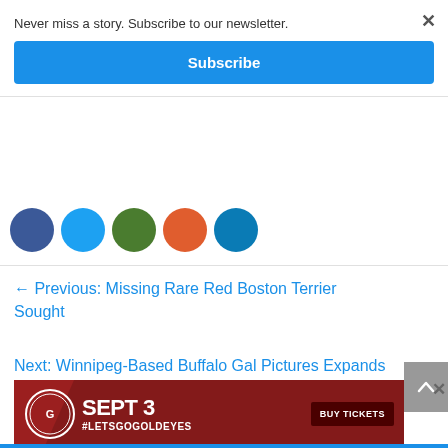Never miss a story. Subscribe to our newsletter.
Subscribe
[Figure (infographic): Five social sharing circular icon buttons: Facebook (blue), Twitter (light blue), Google+ (green), Reddit (orange-red), LinkedIn (blue-teal), partially cropped at top]
← Previous: Missing Rare Red Boston Terrier Sought
Next: Winnipeg-Based Buffalo Gal Pictures Expands to Toronto →
Tags: Wi...
[Figure (infographic): Red advertisement banner: SEPT 3 #LETSGOGOLDEYES with BUY TICKETS button and logo on dark red diagonal stripe background]